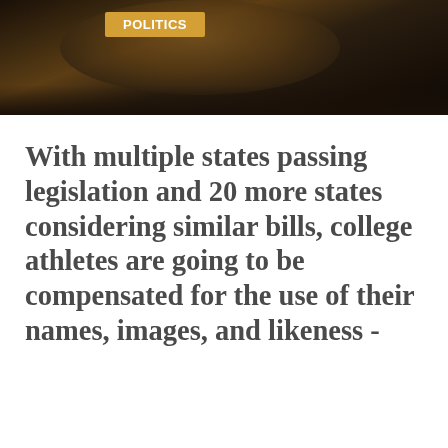[Figure (photo): Dark photograph of what appears to be people in an indoor setting, with a gold/amber 'POLITICS' badge overlaid in the upper portion]
With multiple states passing legislation and 20 more states considering similar bills, college athletes are going to be compensated for the use of their names, images, and likeness - in one form or another.